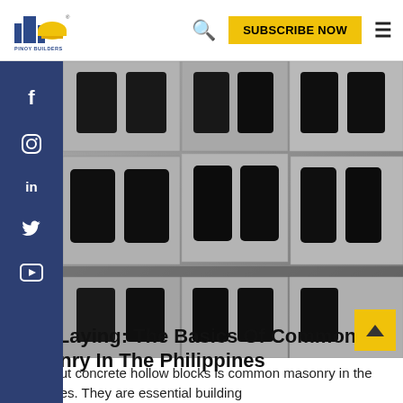PINOY BUILDERS | SUBSCRIBE NOW
[Figure (photo): Close-up photograph of multiple concrete hollow blocks (CHB) stacked together, showing their characteristic square holes, grey texture and rough surfaces.]
CHB Laying: The Basics Of Common Masonry In The Philippines
Laying out concrete hollow blocks is common masonry in the Philippines. They are essential building